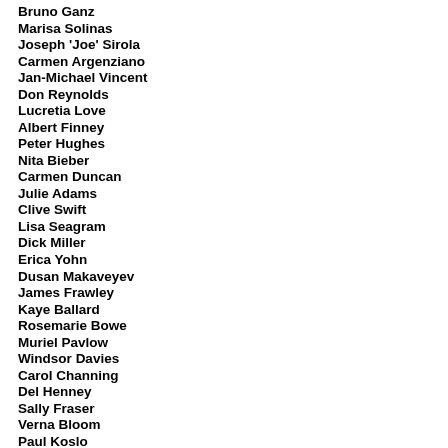Bruno Ganz
Marisa Solinas
Joseph 'Joe' Sirola
Carmen Argenziano
Jan-Michael Vincent
Don Reynolds
Lucretia Love
Albert Finney
Peter Hughes
Nita Bieber
Carmen Duncan
Julie Adams
Clive Swift
Lisa Seagram
Dick Miller
Erica Yohn
Dusan Makaveyev
James Frawley
Kaye Ballard
Rosemarie Bowe
Muriel Pavlow
Windsor Davies
Carol Channing
Del Henney
Sally Fraser
Verna Bloom
Paul Koslo
Morgan Sheppard
Louisa Moritz
Kader Khan
Mrinal Sen
Ringo Lam
Agneta Eckemyr
Rosenda Monteros